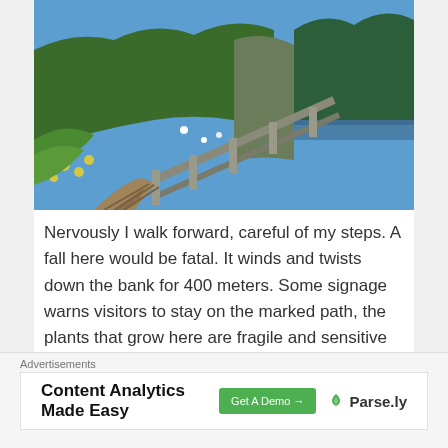[Figure (photo): A coastal hiking trail with a wooden fence/railing alongside a path, green forested hillside, yellow wildflowers, and blue ocean visible in the background under a blue sky.]
Nervously I walk forward, careful of my steps. A fall here would be fatal. It winds and twists down the bank for 400 meters. Some signage warns visitors to stay on the marked path, the plants that grow here are fragile and sensitive to erosion. I finally
Advertisements
[Figure (other): Advertisement banner: 'Content Analytics Made Easy' with a green 'Get A Demo →' button and Parse.ly logo]